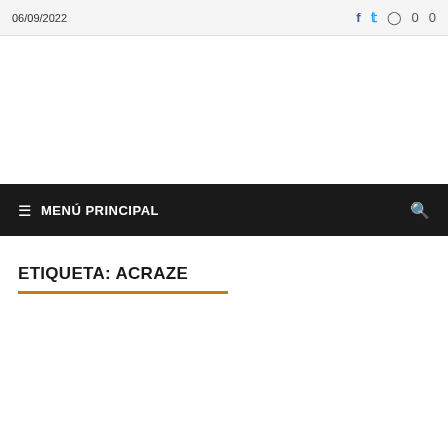06/09/2022
≡ MENÚ PRINCIPAL
ETIQUETA: ACRAZE